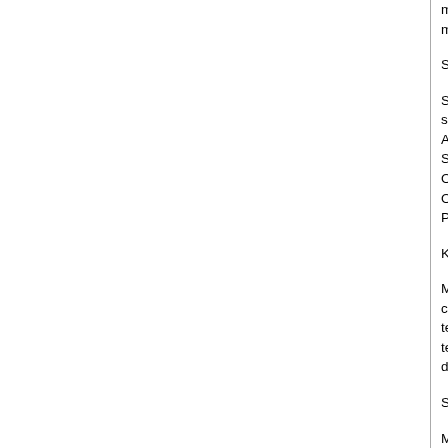monitoring; Traffic engineering and management; Network management paradigm
Software development and deployment
Software requirements engineering; Software architecture; software development, verification and validation; Agile/Generic/Agent-oriented programming; Software reuse; Software security, reliability; OO design; Distributed and parallel software; Open source software development methods; Performance and Evaluation
Knowledge virtualization
Modeling techniques, tools, methodologies, computing frameworks and fundamentals; techniques; Resource containers, physical techniques; Management of virtualized systems; demand utilities Adaptive enterprise; Management
Systems and networks on the chip
Microtechnology and nanotechnology; Real-time systems; High speed embedded systems; Distributed; Updating embedded systems; Wireless/wired processors; Migration to single-chip systems
Context-aware systems